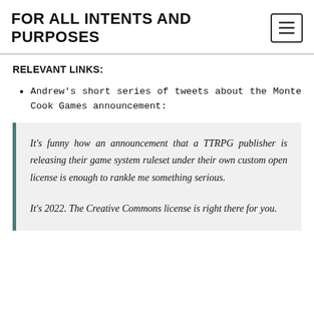FOR ALL INTENTS AND PURPOSES
RELEVANT LINKS:
Andrew's short series of tweets about the Monte Cook Games announcement:
It's funny how an announcement that a TTRPG publisher is releasing their game system ruleset under their own custom open license is enough to rankle me something serious.

It's 2022. The Creative Commons license is right there for you.